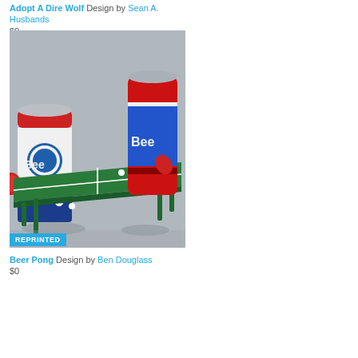Adopt A Dire Wolf Design by Sean A. Husbands
$0
[Figure (illustration): Beer Pong illustration showing cartoon beer cans playing ping pong on a green table. A PBR-style can on the left holds a paddle, a red/white beer can on the right. Green ping pong table in center with ball and paddles. Grey background. REPRINTED badge in blue at bottom left.]
Beer Pong Design by Ben Douglass
$0